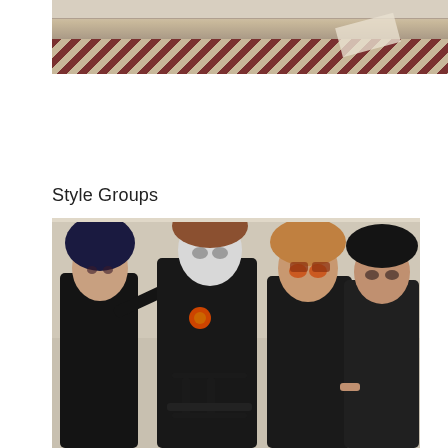[Figure (photo): Partial view of a room with a ceiling beam and checkered floor pattern in red and beige. A crumpled paper is visible on the floor.]
Style Groups
[Figure (photo): Four people dressed in dark/black gothic-style clothing and heavy makeup posing together. The central figure wears black lingerie with suspenders and a red flower. They are posed in front of a pale wall with a pole behind them.]